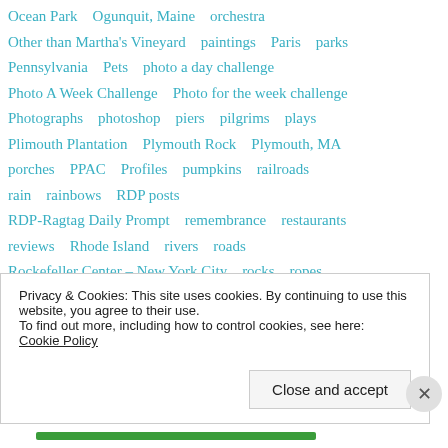Ocean Park   Ogunquit, Maine   orchestra
Other than Martha's Vineyard   paintings   Paris   parks
Pennsylvania   Pets   photo a day challenge
Photo A Week Challenge   Photo for the week challenge
Photographs   photoshop   piers   pilgrims   plays
Plimouth Plantation   Plymouth Rock   Plymouth, MA
porches   PPAC   Profiles   pumpkins   railroads
rain   rainbows   RDP posts
RDP-Ragtag Daily Prompt   remembrance   restaurants
reviews   Rhode Island   rivers   roads
Rockefeller Center – New York City   rocks   ropes
Santa   school   sculptures   seashore   seasonal
Privacy & Cookies: This site uses cookies. By continuing to use this website, you agree to their use. To find out more, including how to control cookies, see here: Cookie Policy
Close and accept